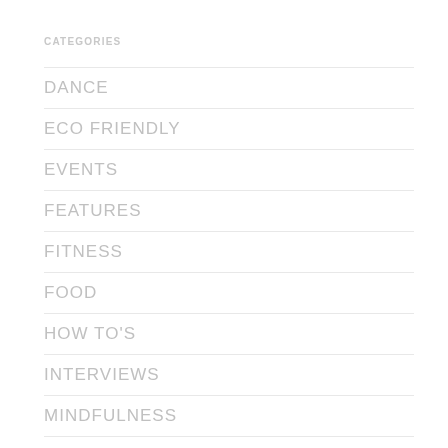CATEGORIES
DANCE
ECO FRIENDLY
EVENTS
FEATURES
FITNESS
FOOD
HOW TO'S
INTERVIEWS
MINDFULNESS
PREGNANCY
PRODUCTS